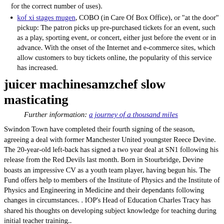for the correct number of uses).
kof xi stages mugen, COBO (in Care Of Box Office), or "at the door" pickup: The patron picks up pre-purchased tickets for an event, such as a play, sporting event, or concert, either just before the event or in advance. With the onset of the Internet and e-commerce sites, which allow customers to buy tickets online, the popularity of this service has increased.
juicer machinesamzchef slow masticating
Further information: a journey of a thousand miles
Swindon Town have completed their fourth signing of the season, agreeing a deal with former Manchester United youngster Reece Devine. The 20-year-old left-back has signed a two year deal at SN1 following his release from the Red Devils last month. Born in Stourbridge, Devine boasts an impressive CV as a youth team player, having begun his. The Fund offers help to members of the Institute of Physics and the Institute of Physics and Engineering in Medicine and their dependants following changes in circumstances. . IOP's Head of Education Charles Tracy has shared his thoughts on developing subject knowledge for teaching during initial teacher training..